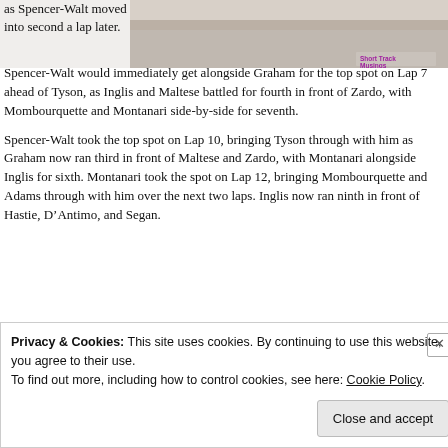[Figure (photo): Partial view of a racing track or similar sports venue, with a watermark reading 'Short Track Musings' in the bottom right corner.]
as Spencer-Walt moved into second a lap later. Spencer-Walt would immediately get alongside Graham for the top spot on Lap 7 ahead of Tyson, as Inglis and Maltese battled for fourth in front of Zardo, with Mombourquette and Montanari side-by-side for seventh.
Spencer-Walt took the top spot on Lap 10, bringing Tyson through with him as Graham now ran third in front of Maltese and Zardo, with Montanari alongside Inglis for sixth. Montanari took the spot on Lap 12, bringing Mombourquette and Adams through with him over the next two laps. Inglis now ran ninth in front of Hastie, D’Antimo, and Segan.
Privacy & Cookies: This site uses cookies. By continuing to use this website, you agree to their use.
To find out more, including how to control cookies, see here: Cookie Policy